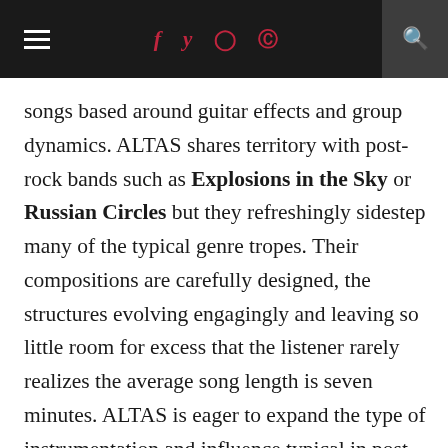≡  f  t  [instagram]  [pinterest]  🔍
songs based around guitar effects and group dynamics. ALTAS shares territory with post-rock bands such as Explosions in the Sky or Russian Circles but they refreshingly sidestep many of the typical genre tropes. Their compositions are carefully designed, the structures evolving engagingly and leaving so little room for excess that the listener rarely realizes the average song length is seven minutes. ALTAS is eager to expand the type of instrumentation and influence typical in post rock. Distorted guitars thrash under bell-like Rhodes melodies; sparkling synths arpeggiate over abstract effects; hip-hop bass grooves, jazz beats and cumbia rhythms make subtle